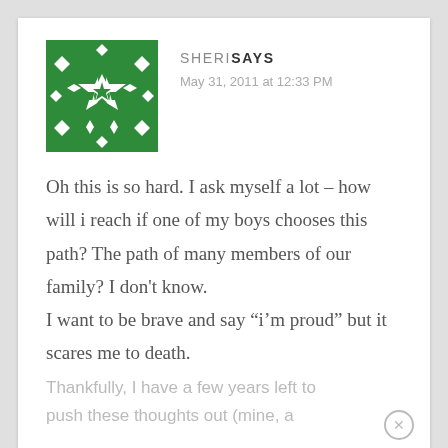[Figure (illustration): Green and white geometric snowflake/diamond pattern avatar image]
SHERI SAYS
May 31, 2011 at 12:33 PM
Oh this is so hard. I ask myself a lot – how will i reach if one of my boys chooses this path? The path of many members of our family? I don't know.
I want to be brave and say “i’m proud” but it scares me to death.
Thankfully, I have a few years left to push these thoughts out (mine, a